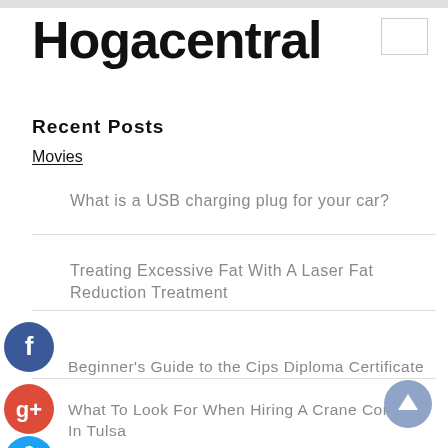Hogacentral
Recent Posts
Movies
What is a USB charging plug for your car?
Treating Excessive Fat With A Laser Fat Reduction Treatment
Beginner's Guide to the Cips Diploma Certificate
What To Look For When Hiring A Crane Company In Tulsa
What Is A Google Ads In Melbourne?